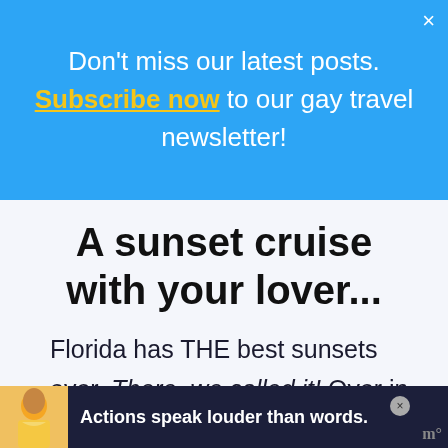Don't miss our latest posts. Subscribe now to our gay travel newsletter!
A sunset cruise with your lover...
Florida has THE best sunsets ever. There, we called it! Over in Key West, you're guaranteed a stunning view every evening. One of the most romantic ways to enjoy it is aboard a sunset cruise. We
[Figure (infographic): Bottom advertisement banner with illustrated figure and text 'Actions speak louder than words.']